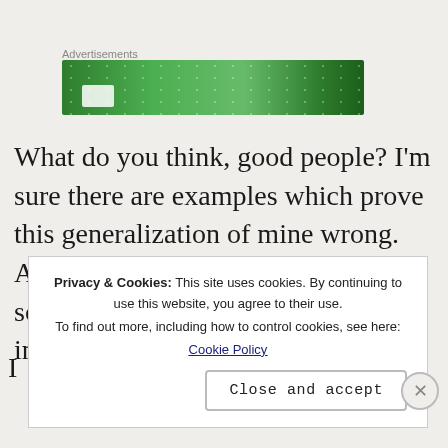[Figure (other): Green advertisement banner with white dot pattern overlay and small white patch on left side, labeled 'Advertisements']
What do you think, good people? I'm sure there are examples which prove this generalization of mine wrong. Are there some striking examples of social commentary and concern left in modern hip hop?
Privacy & Cookies: This site uses cookies. By continuing to use this website, you agree to their use.
To find out more, including how to control cookies, see here:
Cookie Policy
Close and accept